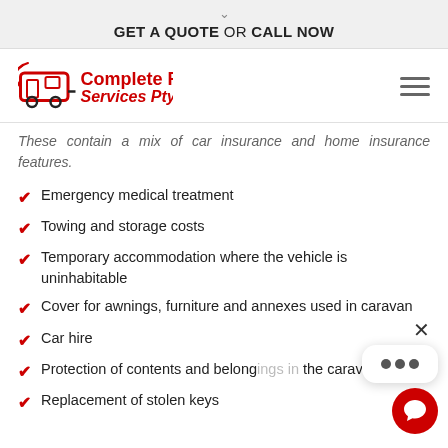GET A QUOTE OR CALL NOW
[Figure (logo): Complete RV Services Pty Ltd logo with red text and stylized caravan icon]
These contain a mix of car insurance and home insurance features.
Emergency medical treatment
Towing and storage costs
Temporary accommodation where the vehicle is uninhabitable
Cover for awnings, furniture and annexes used in caravan
Car hire
Protection of contents and belongings in the caravan
Replacement of stolen keys